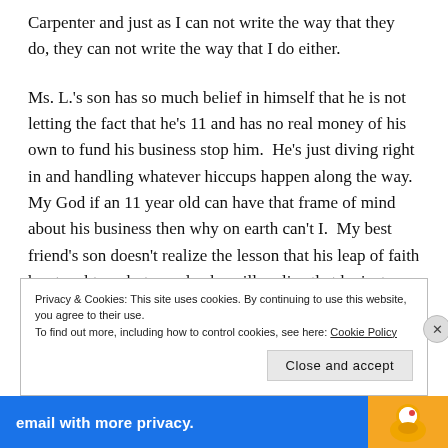Carpenter and just as I can not write the way that they do, they can not write the way that I do either.
Ms. L.'s son has so much belief in himself that he is not letting the fact that he's 11 and has no real money of his own to fund his business stop him. He's just diving right in and handling whatever hiccups happen along the way. My God if an 11 year old can have that frame of mind about his business then why on earth can't I. My best friend's son doesn't realize the lesson that his leap of faith has taught me but one day he will realize that he just showed me that the only person that is really in my
Privacy & Cookies: This site uses cookies. By continuing to use this website, you agree to their use.
To find out more, including how to control cookies, see here: Cookie Policy
Close and accept
email with more privacy.